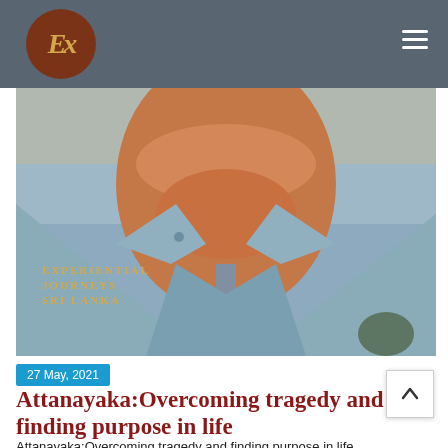Experiential Journeys Sri Lanka — navigation bar with logo
[Figure (photo): Close-up photo of a person's neck and collar area, wearing a light blue/grey button-up shirt. The neck shows a goiter or enlarged thyroid. Text overlay reads 'Experiential Journeys Sri Lanka'.]
27 May, 2021
Attanayaka:Overcoming tragedy and finding purpose in life
Attanayaka:Overcoming tragedy and finding purpose in life